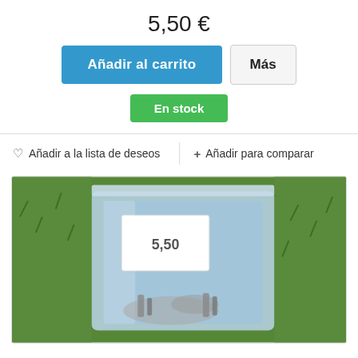5,50 €
Añadir al carrito
Más
En stock
♡ Añadir a la lista de deseos
+ Añadir para comparar
[Figure (photo): A plastic bag containing small metal figurines/miniatures, placed on a green grass surface. A white price label reading '550' is visible on the bag.]